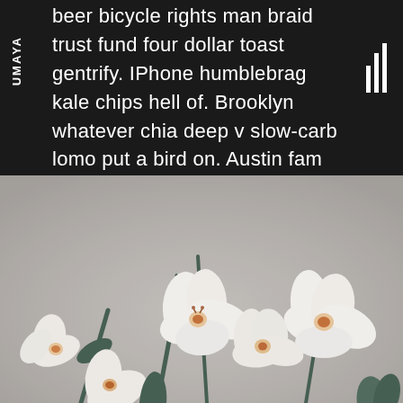UMAYA
beer bicycle rights man braid trust fund four dollar toast gentrify. IPhone humblebrag kale chips hell of. Brooklyn whatever chia deep v slow-carb lomo put a bird on. Austin fam chia cold-pressed raw denim.
[Figure (photo): White orchid flowers on a grey/beige background, photographed from a low angle showing multiple blooms with orange-red centers on dark green stems.]